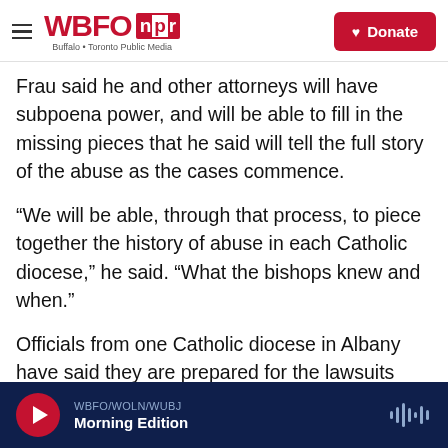WBFO npr — Buffalo + Toronto Public Media | Donate
Frau said he and other attorneys will have subpoena power, and will be able to fill in the missing pieces that he said will tell the full story of the abuse as the cases commence.
“We will be able, through that process, to piece together the history of abuse in each Catholic diocese,” he said. “What the bishops knew and when.”
Officials from one Catholic diocese in Albany have said they are prepared for the lawsuits and support the survivors’ quest to seek legal recourse.
WBFO/WOLN/WUBJ Morning Edition